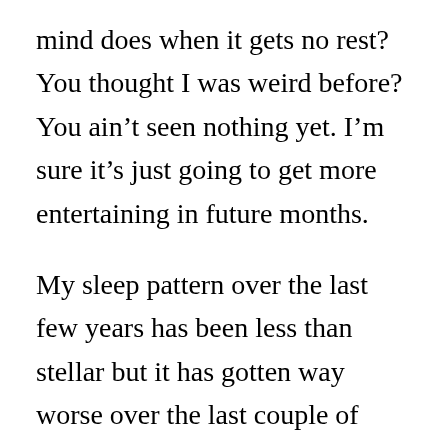mind does when it gets no rest? You thought I was weird before? You ain't seen nothing yet. I'm sure it's just going to get more entertaining in future months.

My sleep pattern over the last few years has been less than stellar but it has gotten way worse over the last couple of weeks. Duh. I wonder why? I've always been a worrier despite the fact that worrying usually just makes an average situation worse. I used to wake up in the middle of the night worrying